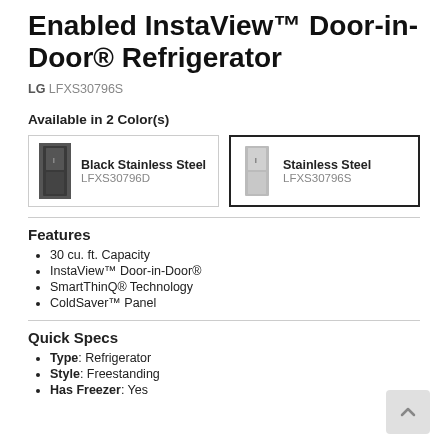Enabled InstaView™ Door-in-Door® Refrigerator
LG LFXS30796S
Available in 2 Color(s)
| Black Stainless Steel | LFXS30796D |
| Stainless Steel | LFXS30796S |
Features
30 cu. ft. Capacity
InstaView™ Door-in-Door®
SmartThinQ® Technology
ColdSaver™ Panel
Quick Specs
Type: Refrigerator
Style: Freestanding
Has Freezer: Yes